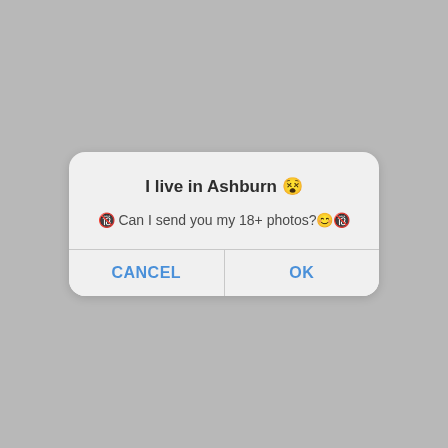I live in Ashburn 😵
🔞 Can I send you my 18+ photos?😊🔞
CANCEL
OK